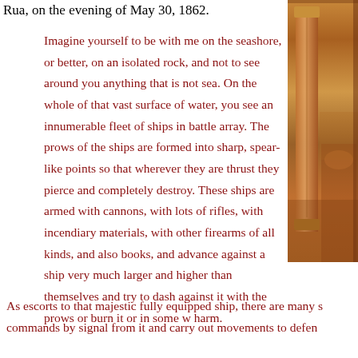Rua, on the evening of May 30, 1862.
[Figure (illustration): A decorative painted or illustrated image on the right side of the page, showing warm orange and brown tones suggesting a historical or artistic scene.]
Imagine yourself to be with me on the seashore, or better, on an isolated rock, and not to see around you anything that is not sea. On the whole of that vast surface of water, you see an innumerable fleet of ships in battle array. The prows of the ships are formed into sharp, spear-like points so that wherever they are thrust they pierce and completely destroy. These ships are armed with cannons, with lots of rifles, with incendiary materials, with other firearms of all kinds, and also books, and advance against a ship very much larger and higher than themselves and try to dash against it with the prows or burn it or in some w harm.
As escorts to that majestic fully equipped ship, there are many s commands by signal from it and carry out movements to defen